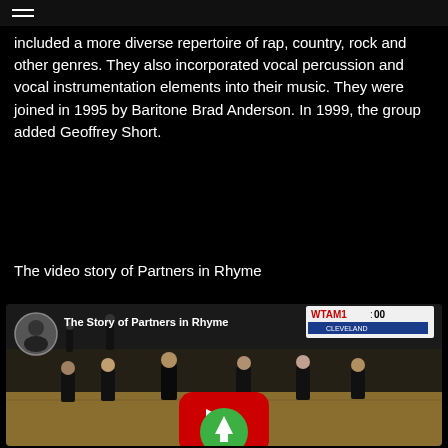included a more diverse repertoire of rap, country, rock and other genres. They also incorporated vocal percussion and vocal instrumentation elements into their music. They were joined in 1995 by Baritone Brad Anderson. In 1999, the group added Geoffrey Short.
The video story of Partners in Rhyme
[Figure (screenshot): Video thumbnail showing 'The Story of Partners in Rhyme' with a YouTube-style play button and green upload/arrow button overlay. Shows performers on a basketball court. WTAM100 banner visible. Small avatar of a man in top-left corner.]